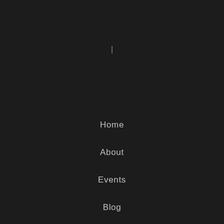|
Home
About
Events
Blog
Resources
Contact